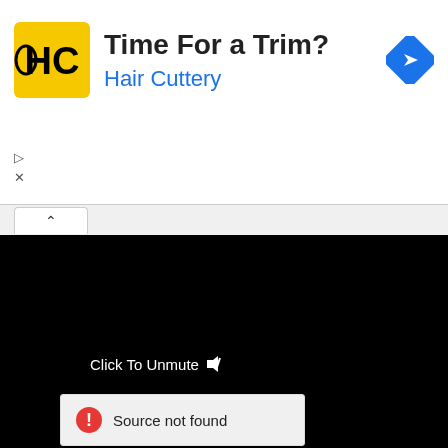[Figure (screenshot): Hair Cuttery advertisement banner with logo, 'Time For a Trim?' headline, blue subtitle, and navigation arrow icon]
Time For a Trim?
Hair Cuttery
[Figure (screenshot): Screenshot of a webpage with a dark video player area showing a ladybug cartoon image at the top, a 'Click To Unmute' label with mute icon, and a 'Source not found' error message box]
Click To Unmute
Source not found